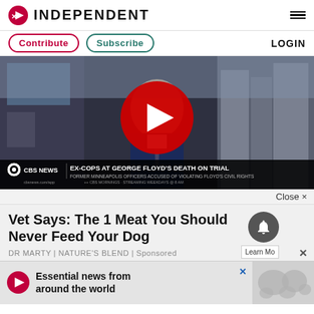INDEPENDENT
Contribute | Subscribe | LOGIN
[Figure (screenshot): CBS News video player showing a man in suit being interviewed, with overlay text: EX-COPS AT GEORGE FLOYD'S DEATH ON TRIAL - FORMER MINNEAPOLIS OFFICERS ACCUSED OF VIOLATING FLOYD'S CIVIL RIGHTS. Large red play button in center.]
Close ×
Vet Says: The 1 Meat You Should Never Feed Your Dog
DR MARTY | NATURE'S BLEND | Sponsored
[Figure (screenshot): Bottom banner ad: Independent logo with text 'Essential news from around the world' and a globe graphic]